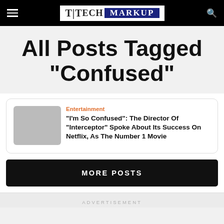Tech Markup
All Posts Tagged "Confused"
Entertainment
“I’m So Confused”: The Director Of “Interceptor” Spoke About Its Success On Netflix, As The Number 1 Movie
MORE POSTS
ADVERTISEMENT